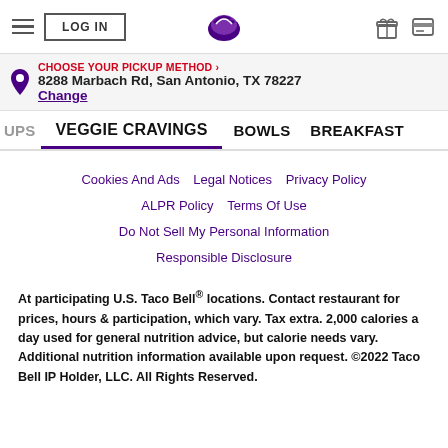LOG IN | Taco Bell logo | gift icon | card icon
CHOOSE YOUR PICKUP METHOD > 8288 Marbach Rd, San Antonio, TX 78227 Change
UPS   VEGGIE CRAVINGS   BOWLS   BREAKFAST
Cookies And Ads   Legal Notices   Privacy Policy   ALPR Policy   Terms Of Use   Do Not Sell My Personal Information   Responsible Disclosure
At participating U.S. Taco Bell® locations. Contact restaurant for prices, hours & participation, which vary. Tax extra. 2,000 calories a day used for general nutrition advice, but calorie needs vary. Additional nutrition information available upon request. ©2022 Taco Bell IP Holder, LLC. All Rights Reserved.